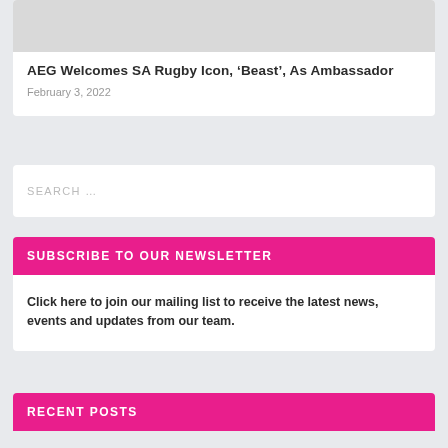[Figure (photo): Gray placeholder image at top of article card]
AEG Welcomes SA Rugby Icon, ‘Beast’, As Ambassador
February 3, 2022
SEARCH …
SUBSCRIBE TO OUR NEWSLETTER
Click here to join our mailing list to receive the latest news, events and updates from our team.
RECENT POSTS